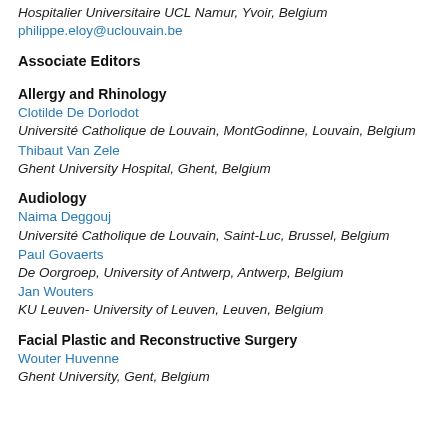Hospitalier Universitaire UCL Namur, Yvoir, Belgium
philippe.eloy@uclouvain.be
Associate Editors
Allergy and Rhinology
Clotilde De Dorlodot
Université Catholique de Louvain, MontGodinne, Louvain, Belgium
Thibaut Van Zele
Ghent University Hospital, Ghent, Belgium
Audiology
Naima Deggouj
Université Catholique de Louvain, Saint-Luc, Brussel, Belgium
Paul Govaerts
De Oorgroep, University of Antwerp, Antwerp, Belgium
Jan Wouters
KU Leuven- University of Leuven, Leuven, Belgium
Facial Plastic and Reconstructive Surgery
Wouter Huvenne
Ghent University, Gent, Belgium